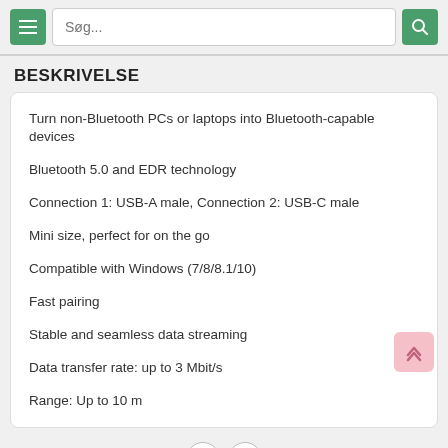Søg...
BESKRIVELSE
Turn non-Bluetooth PCs or laptops into Bluetooth-capable devices
Bluetooth 5.0 and EDR technology
Connection 1: USB-A male, Connection 2: USB-C male
Mini size, perfect for on the go
Compatible with Windows (7/8/8.1/10)
Fast pairing
Stable and seamless data streaming
Data transfer rate: up to 3 Mbit/s
Range: Up to 10 m
ANBEFALEDE | POPULÆRE | SAMME KATEGORI